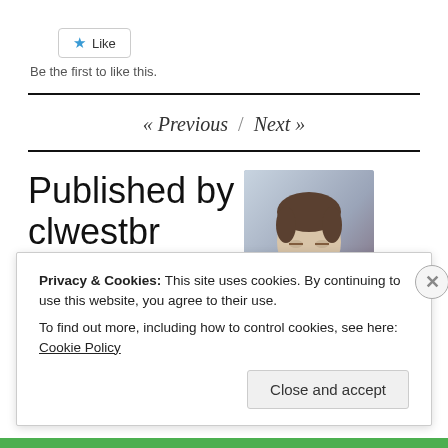[Figure (other): Like button with star icon]
Be the first to like this.
« Previous / Next »
Published by clwestbr
[Figure (photo): Portrait photo of a young man wearing a dark red/maroon cardigan, looking downward, light background]
Privacy & Cookies: This site uses cookies. By continuing to use this website, you agree to their use. To find out more, including how to control cookies, see here: Cookie Policy
Close and accept